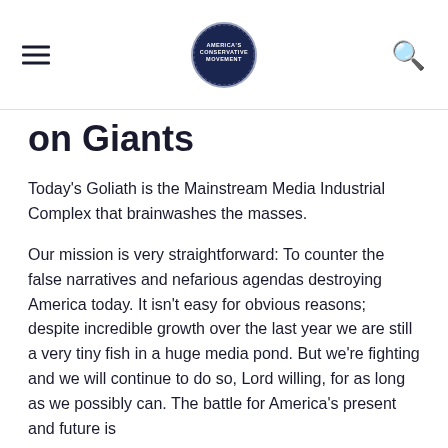[hamburger menu] [America's Conservative Movement logo] [search icon]
on Giants
Today's Goliath is the Mainstream Media Industrial Complex that brainwashes the masses.
Our mission is very straightforward: To counter the false narratives and nefarious agendas destroying America today. It isn't easy for obvious reasons; despite incredible growth over the last year we are still a very tiny fish in a huge media pond. But we're fighting and we will continue to do so, Lord willing, for as long as we possibly can. The battle for America's present and future is